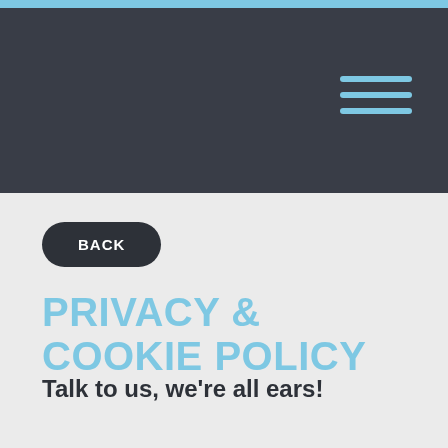BACK
PRIVACY & COOKIE POLICY
Talk to us, we're all ears!